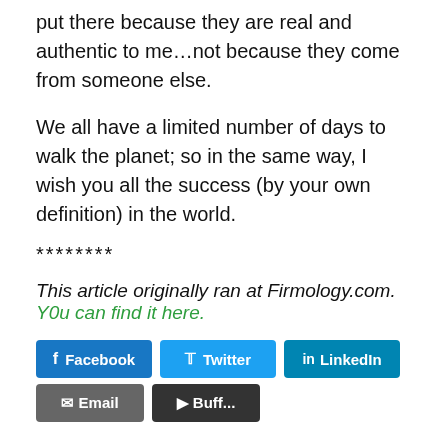put there because they are real and authentic to me…not because they come from someone else.
We all have a limited number of days to walk the planet; so in the same way, I wish you all the success (by your own definition) in the world.
********
This article originally ran at Firmology.com. Y0u can find it here.
[Figure (other): Social share buttons: Facebook, Twitter, LinkedIn, Email, Buffer]